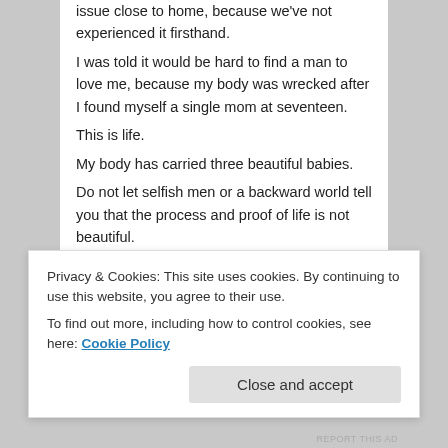issue close to home, because we've not experienced it firsthand.
I was told it would be hard to find a man to love me, because my body was wrecked after I found myself a single mom at seventeen.
This is life.
My body has carried three beautiful babies.
Do not let selfish men or a backward world tell you that the process and proof of life is not beautiful.
We are not meant to be ageless and without cracks."You are altogether beautiful, my darling; there is no flaw in you."-Song of Solomon 4:7
Posted in Uncategorized | Tagged "artistic nude", "female
Privacy & Cookies: This site uses cookies. By continuing to use this website, you agree to their use.
To find out more, including how to control cookies, see here: Cookie Policy